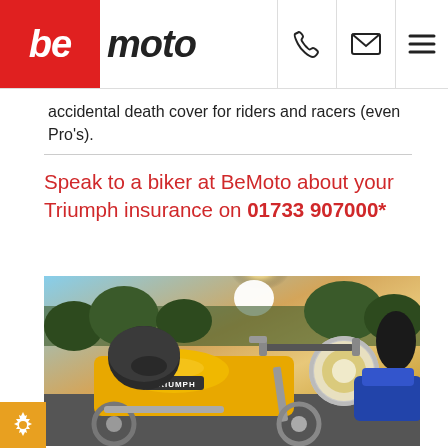be|moto [logo with phone, email, menu icons]
accidental death cover for riders and racers (even Pro's).
Speak to a biker at BeMoto about your Triumph insurance on 01733 907000*
[Figure (photo): Close-up photograph of yellow Triumph motorcycles parked together, with a chrome round headlamp prominent, riders/people in background, sunlight flare, another blue motorcycle partially visible on the right.]